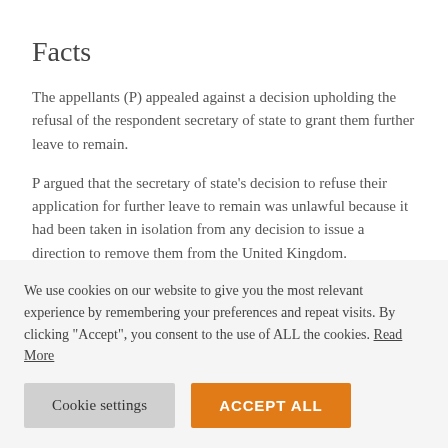Facts
The appellants (P) appealed against a decision upholding the refusal of the respondent secretary of state to grant them further leave to remain.
P argued that the secretary of state's decision to refuse their application for further leave to remain was unlawful because it had been taken in isolation from any decision to issue a direction to remove them from the United Kingdom.
Held
We use cookies on our website to give you the most relevant experience by remembering your preferences and repeat visits. By clicking "Accept", you consent to the use of ALL the cookies. Read More